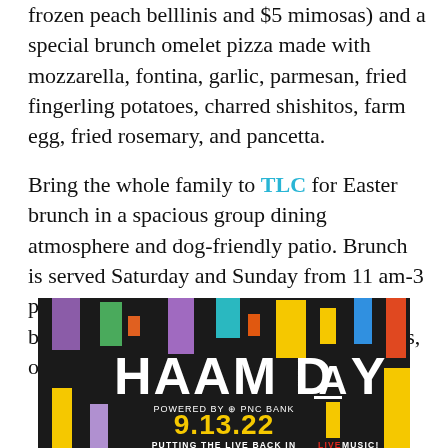frozen peach belllinis and $5 mimosas) and a special brunch omelet pizza made with mozzarella, fontina, garlic, parmesan, fried fingerling potatoes, charred shishitos, farm egg, fried rosemary, and pancetta.
Bring the whole family to TLC for Easter brunch in a spacious group dining atmosphere and dog-friendly patio. Brunch is served Saturday and Sunday from 11 am-3 pm, with highlights including French toast bread pudding, chicken fried steak and eggs, or shrimp and grits.
[Figure (infographic): HAAM Day advertisement. Dark background with colorful vertical bars in purple, green, teal, yellow, orange, red, blue. Large white text reads 'HAAM DAY'. Below: 'POWERED BY PNC BANK'. Yellow text: '9.13.22'. White text: 'PUTTING THE LIVE BACK IN LIVE MUSIC!']